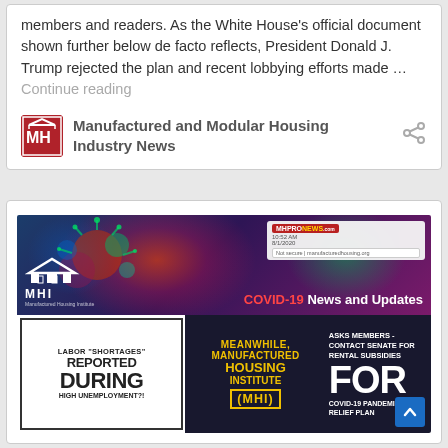members and readers. As the White House's official document shown further below de facto reflects, President Donald J. Trump rejected the plan and recent lobbying efforts made … Continue reading
Manufactured and Modular Housing Industry News
[Figure (screenshot): Screenshot of MHI COVID-19 News and Updates page dated 8/1/2020, 10:52 AM. Bottom section shows: Left panel 'LABOR "SHORTAGES" REPORTED DURING HIGH UNEMPLOYMENT?!', Middle panel 'MEANWHILE, MANUFACTURED HOUSING INSTITUTE (MHI)', Right panel 'ASKS MEMBERS - CONTACT SENATE FOR RENTAL SUBSIDIES FOR COVID-19 PANDEMIC RELIEF PLAN']